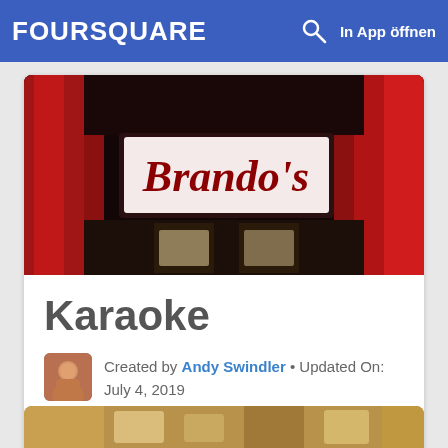FOURSQUARE  In App öffnen
[Figure (photo): Photo of Brando's venue sign — illuminated sign reading "Brando's" in cursive red lettering on a dark background with red curtains]
Karaoke
Created by Andy Swindler • Updated On: July 4, 2019
[Figure (photo): Partial photo of food visible at the bottom of the page]